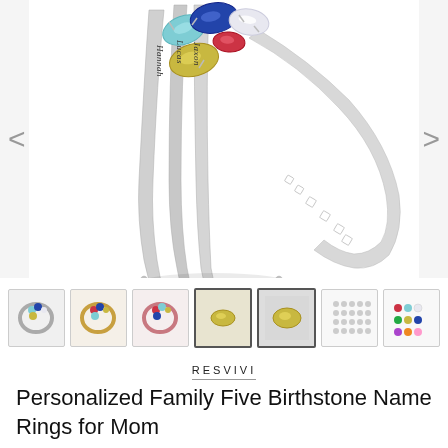[Figure (photo): Close-up product photo of a silver personalized family birthstone ring with five colorful gemstones (aqua, blue, yellow/olive, red, and white/clear) in marquise cuts. The ring has three bands engraved with names: Hannah, Lucas, Jaxon, and the side reads 'Love Forever'. Navigation arrows (< >) are on either side of the main image.]
[Figure (photo): Row of 7 small thumbnail images showing different views and color variants of the personalized birthstone ring: silver version, gold version, rose gold version, close-up gemstone detail, single stone close-up, birthstone color chart grid, and a stone color swatch reference chart.]
RESVIVI
Personalized Family Five Birthstone Name Rings for Mom